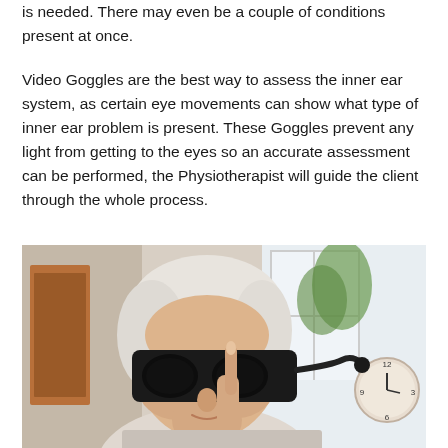is needed. There may even be a couple of conditions present at once.
Video Goggles are the best way to assess the inner ear system, as certain eye movements can show what type of inner ear problem is present. These Goggles prevent any light from getting to the eyes so an accurate assessment can be performed, the Physiotherapist will guide the client through the whole process.
[Figure (photo): An elderly woman with white/grey hair wearing large black video goggles (used for inner ear assessment). A finger is raised near her face. A clock and window are visible in the background.]